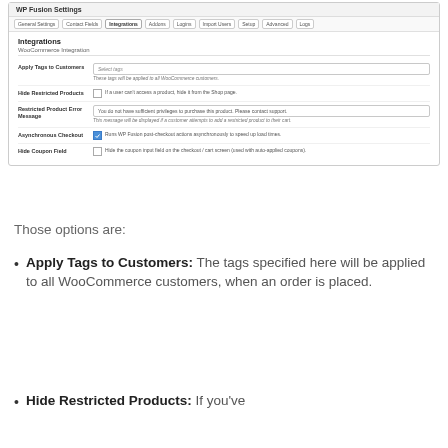[Figure (screenshot): WP Fusion Settings admin panel showing Integrations tab with WooCommerce Integration options: Apply Tags to Customers (text field with 'Select tags' placeholder), Hide Restricted Products (checkbox), Restricted Product Error Message (text input with default message), Asynchronous Checkout (checked checkbox), Hide Coupon Field (checkbox).]
Those options are:
Apply Tags to Customers: The tags specified here will be applied to all WooCommerce customers, when an order is placed.
Hide Restricted Products: If you've